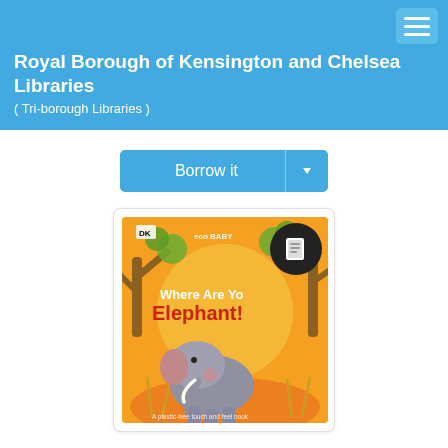Royal Borough of Kensington and Chelsea Libraries ( Tri-borough Libraries )
[Figure (screenshot): Borrow it button with dropdown caret, blue background]
[Figure (photo): Book cover: Where Are You Elephant? a plastic-free touch and feel book, illustrated and designed by DK. Orange/yellow background with cartoon elephant, green trees, with a book app icon overlay circle.]
Where are you elephant? : a plastic-free touch and feel book, illustrated and designed by